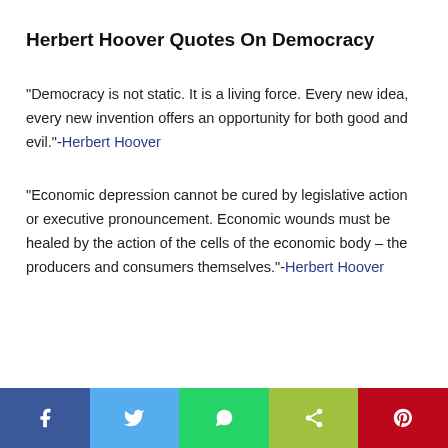Herbert Hoover Quotes On Democracy
“Democracy is not static. It is a living force. Every new idea, every new invention offers an opportunity for both good and evil.”-Herbert Hoover
“Economic depression cannot be cured by legislative action or executive pronouncement. Economic wounds must be healed by the action of the cells of the economic body – the producers and consumers themselves.”-Herbert Hoover
[Figure (infographic): Social share bar with five buttons: Facebook (blue), Twitter (light blue), WhatsApp (green), Share (yellow-green), Pinterest (red), each showing their respective icons in white.]